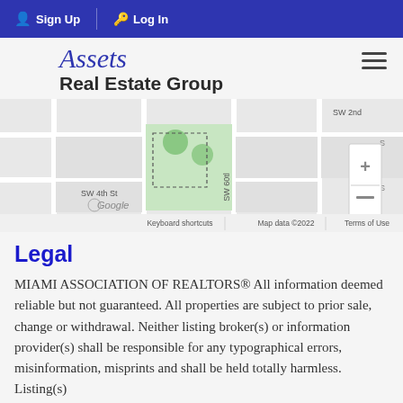Sign Up  Log In
Assets Real Estate Group
[Figure (map): Google Maps view showing a green-shaded parcel near SW 4th St and SW 60th Ave, Miami. Map data ©2022. Shows street grid with labeled streets SW 2nd and SW 4th St. Includes zoom controls (+/-). Footer shows: Keyboard shortcuts | Map data ©2022 | Terms of Use]
Legal
MIAMI ASSOCIATION OF REALTORS® All information deemed reliable but not guaranteed. All properties are subject to prior sale, change or withdrawal. Neither listing broker(s) or information provider(s) shall be responsible for any typographical errors, misinformation, misprints and shall be held totally harmless. Listing(s)